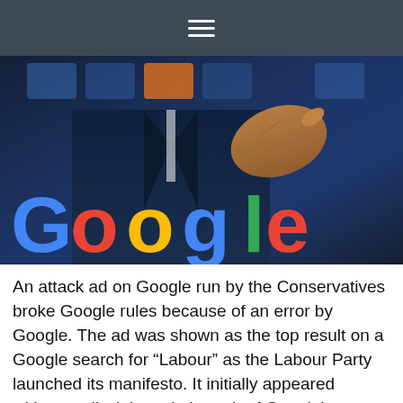☰
[Figure (photo): Photo showing the Google logo in large colorful letters against a dark blue background, with a person in a suit pointing a finger toward the viewer from the upper portion of the image.]
An attack ad on Google run by the Conservatives broke Google rules because of an error by Google. The ad was shown as the top result on a Google search for “Labour” as the Labour Party launched its manifesto. It initially appeared without a disclaimer, in breach of Google’s terms and conditions which state that “all election […]